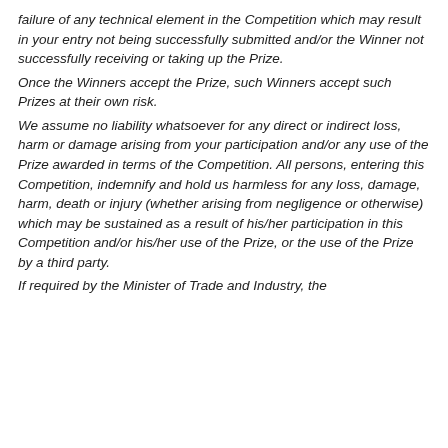failure of any technical element in the Competition which may result in your entry not being successfully submitted and/or the Winner not successfully receiving or taking up the Prize.
Once the Winners accept the Prize, such Winners accept such Prizes at their own risk.
We assume no liability whatsoever for any direct or indirect loss, harm or damage arising from your participation and/or any use of the Prize awarded in terms of the Competition. All persons, entering this Competition, indemnify and hold us harmless for any loss, damage, harm, death or injury (whether arising from negligence or otherwise) which may be sustained as a result of his/her participation in this Competition and/or his/her use of the Prize, or the use of the Prize by a third party.
If required by the Minister of Trade and Industry, the